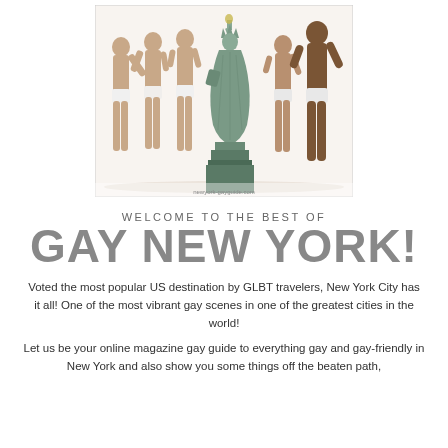[Figure (photo): Five men in white underwear posed with a Statue of Liberty prop/costume, standing against a white background.]
WELCOME TO THE BEST OF
GAY NEW YORK!
Voted the most popular US destination by GLBT travelers, New York City has it all! One of the most vibrant gay scenes in one of the greatest cities in the world!
Let us be your online magazine gay guide to everything gay and gay-friendly in New York and also show you some things off the beaten path,